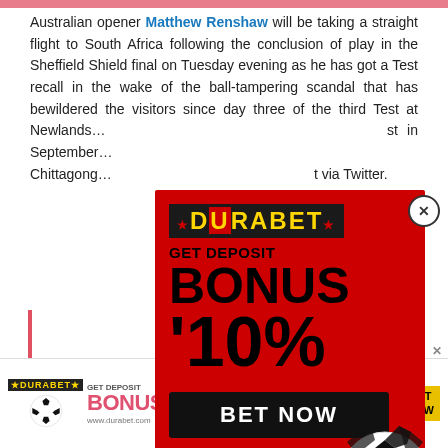Australian opener Matthew Renshaw will be taking a straight flight to South Africa following the conclusion of play in the Sheffield Shield final on Tuesday evening as he has got a Test recall in the wake of the ball-tampering scandal that has bewildered the visitors since day three of the third Test at Newlands... st in September... Chittagong... t via Twitter.
[Figure (infographic): DURABET popup advertisement on red background. Text: GET DEPOSIT BONUS 10% with BET NOW button and +91 8976362013 WhatsApp contact. Soccer ball graphic on right side.]
[Figure (infographic): Bottom banner ad for DURABET: GET DEPOSIT BONUS 10% with soccer ball, www.durabet.com, BET NOW badge, +91 8976362013]